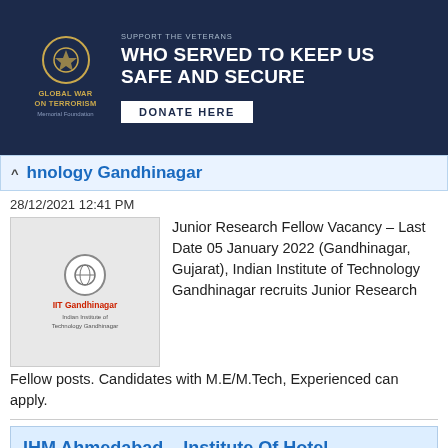[Figure (other): Advertisement banner for Global War on Terrorism Memorial Foundation with text 'Support the veterans who served to keep us safe and secure' and a 'Donate Here' button on a dark navy background.]
hnology Gandhinagar
28/12/2021 12:41 PM
Junior Research Fellow Vacancy – Last Date 05 January 2022 (Gandhinagar, Gujarat), Indian Institute of Technology Gandhinagar recruits Junior Research Fellow posts. Candidates with M.E/M.Tech, Experienced can apply.
IHM Ahmedabad – Institute Of Hotel Management Ahmedabad
15/09/2021 5:48 PM
Administrative-cum-Accounts Officer